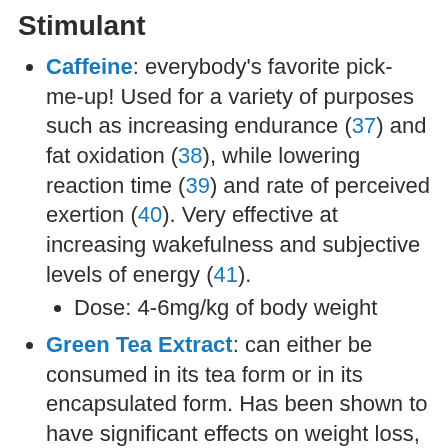Stimulant
Caffeine: everybody's favorite pick-me-up! Used for a variety of purposes such as increasing endurance (37) and fat oxidation (38), while lowering reaction time (39) and rate of perceived exertion (40). Very effective at increasing wakefulness and subjective levels of energy (41).
Dose: 4-6mg/kg of body weight
Green Tea Extract: can either be consumed in its tea form or in its encapsulated form. Has been shown to have significant effects on weight loss, particularly in those who don't habitually consume caffeine (42).
Dose: 400-500mg of EGCG and...